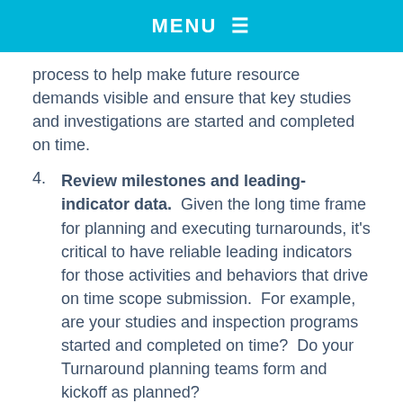MENU ≡
process to help make future resource demands visible and ensure that key studies and investigations are started and completed on time.
4. Review milestones and leading-indicator data. Given the long time frame for planning and executing turnarounds, it's critical to have reliable leading indicators for those activities and behaviors that drive on time scope submission. For example, are your studies and inspection programs started and completed on time? Do your Turnaround planning teams form and kickoff as planned?